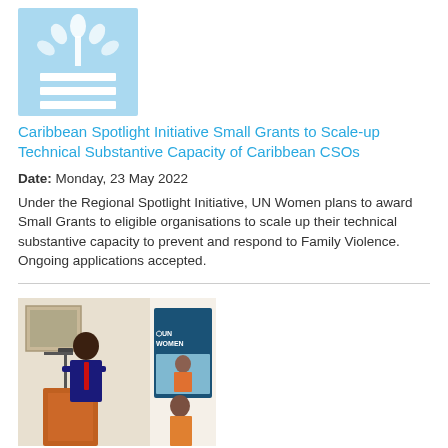[Figure (logo): UN Women light blue logo with wheat/flower emblem and horizontal bars]
Caribbean Spotlight Initiative Small Grants to Scale-up Technical Substantive Capacity of Caribbean CSOs
Date: Monday, 23 May 2022
Under the Regional Spotlight Initiative, UN Women plans to award Small Grants to eligible organisations to scale up their technical substantive capacity to prevent and respond to Family Violence. Ongoing applications accepted.
[Figure (photo): A man speaking at a podium with microphones; beside him a UN Women banner and a woman in an orange shirt]
Global Affairs Canada, UN Agencies and Government of Saint Lucia launch the Build Back Equal Project (BBE) for vulnerable